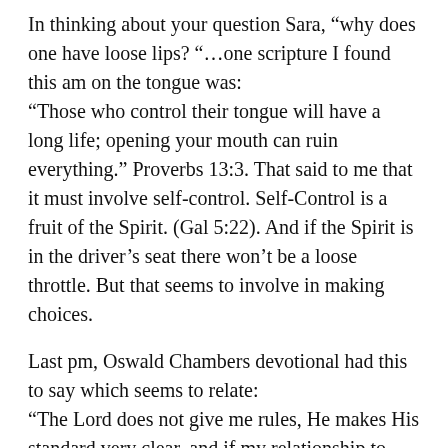In thinking about your question Sara, “why does one have loose lips? “…one scripture I found this am on the tongue was:
“Those who control their tongue will have a long life; opening your mouth can ruin everything.” Proverbs 13:3. That said to me that it must involve self-control. Self-Control is a fruit of the Spirit. (Gal 5:22). And if the Spirit is in the driver’s seat there won’t be a loose throttle. But that seems to involve in making choices.
Last pm, Oswald Chambers devotional had this to say which seems to relate:
“The Lord does not give me rules, He makes His standard very clear, and if my relationship to Him is that of love, I will do what He says without any hesitation. If I hesitate, it is because I love some one else in competition with Him, viz., myself. Jesus Christ will not help me to obey Him, I must obey Him; and when I do obey Him, I fulfil my spiritual